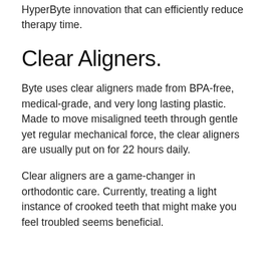HyperByte innovation that can efficiently reduce therapy time.
Clear Aligners.
Byte uses clear aligners made from BPA-free, medical-grade, and very long lasting plastic. Made to move misaligned teeth through gentle yet regular mechanical force, the clear aligners are usually put on for 22 hours daily.
Clear aligners are a game-changer in orthodontic care. Currently, treating a light instance of crooked teeth that might make you feel troubled seems beneficial.